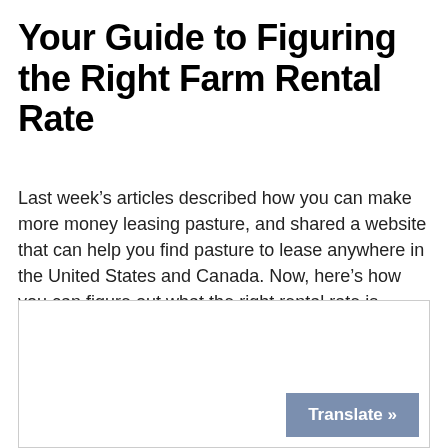Your Guide to Figuring the Right Farm Rental Rate
Last week's articles described how you can make more money leasing pasture, and shared a website that can help you find pasture to lease anywhere in the United States and Canada. Now, here's how you can figure out what the right rental rate is.
[Figure (other): Advertisement or embed box with a Translate button in the bottom right corner]